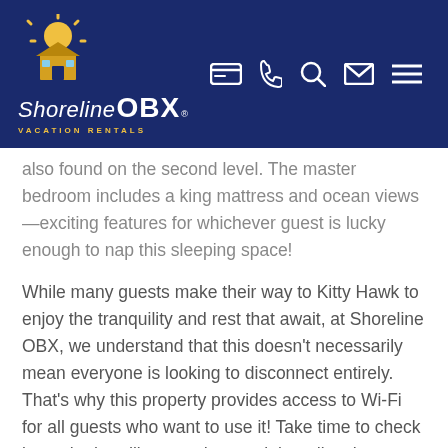Shoreline OBX Vacation Rentals — navigation header
also found on the second level. The master bedroom includes a king mattress and ocean views—exciting features for whichever guest is lucky enough to nap this sleeping space!
While many guests make their way to Kitty Hawk to enjoy the tranquility and rest that await, at Shoreline OBX, we understand that this doesn't necessarily mean everyone is looking to disconnect entirely. That's why this property provides access to Wi-Fi for all guests who want to use it! Take time to check in on the headlines, update social media, share vacation photos, or stream the shows and movies you love during a stay. Either way, the choice is